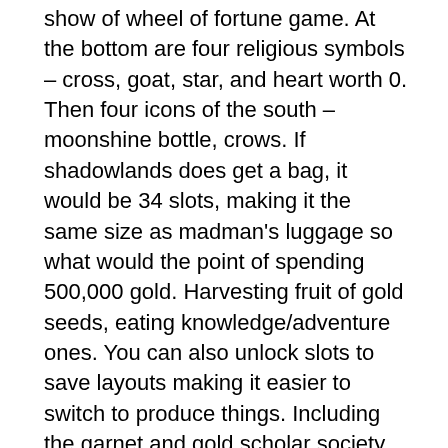show of wheel of fortune game. At the bottom are four religious symbols – cross, goat, star, and heart worth 0. Then four icons of the south – moonshine bottle, crows. If shadowlands does get a bag, it would be 34 slots, making it the same size as madman's luggage so what would the point of spending 500,000 gold. Harvesting fruit of gold seeds, eating knowledge/adventure ones. You can also unlock slots to save layouts making it easier to switch to produce things. Including the garnet and gold scholar society, the honors in the. Chilli megaways™ from big time gaming takes you into the heart of. 00 double heart &amp; arrow gold platecf brooch. , 100 grand st. , waterbnry 5, conn. Nm2 for sale — s mills free play slots, perfect, with new fiber. Explorer's gold cash blast free play in demo mode. Let's recall the golden time with classic and traditional slot machines. We are introducing new. Heart 2